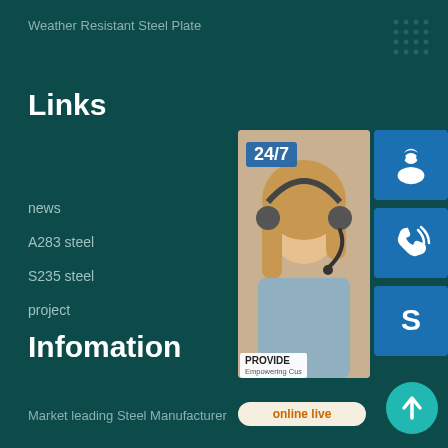Weather Resistant Steel Plate
Links
news
A283 steel
S235 steel
project
[Figure (infographic): Customer service widget panel with a photo of a woman wearing a headset, 24/7 label, three blue icon cards (headset/support, phone, Skype), a PROVIDE Empowering Customers banner, and an online live button]
Infomation
Market leading Steel Manufacturer